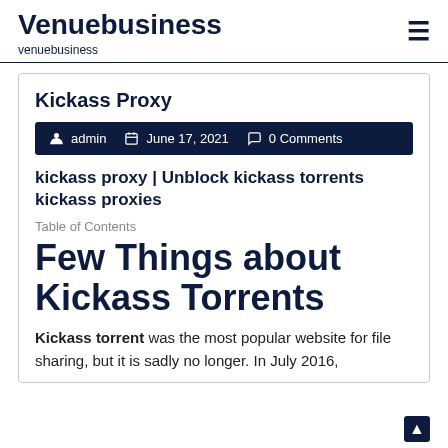Venuebusiness
venuebusiness
Kickass Proxy
admin   June 17, 2021   0 Comments
kickass proxy | Unblock kickass torrents kickass proxies
Table of Contents
Few Things about Kickass Torrents
Kickass torrent was the most popular website for file sharing, but it is sadly no longer. In July 2016,